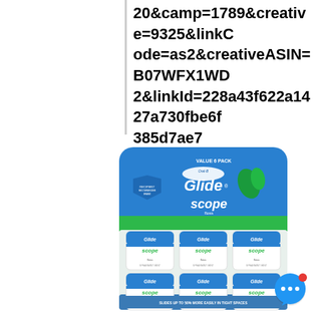20&camp=1789&creative=9325&linkCode=as2&creativeASIN=B07WFX1WD2&linkId=228a43f622a1427a730fbe6f385d7ae7
[Figure (photo): Oral-B Glide Scope Floss Value 6 Pack product packaging showing six individual floss containers arranged in two rows of three, with green and white branding, mint leaves decoration, and text 'SLIDES UP TO 50% MORE EASILY IN TIGHT SPACES VS. REGULAR FLOSS']
[Figure (illustration): Blue circular chat bubble icon with three white dots and a red notification dot in the upper right corner]